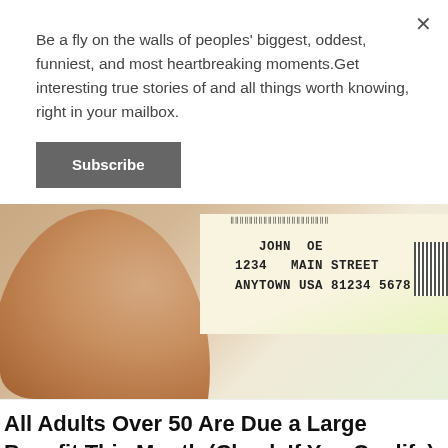Be a fly on the walls of peoples' biggest, oddest, funniest, and most heartbreaking moments.Get interesting true stories of and all things worth knowing, right in your mailbox.
Subscribe
[Figure (photo): A hand holding an envelope/letter. The envelope shows a mailing address label: 'JOHN OE, 1234 MAIN STREET, ANYTOWN USA 81234 5678' with a barcode at top and a small barcode box on the right.]
All Adults Over 50 Are Due a Large Benefit This Month (Check If You Qualify)
Money Doubled